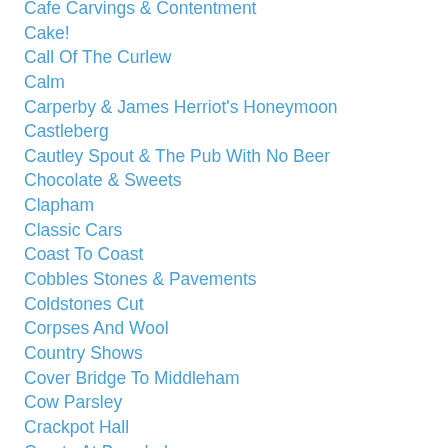Cafe Carvings & Contentment
Cake!
Call Of The Curlew
Calm
Carperby & James Herriot's Honeymoon
Castleberg
Cautley Spout & The Pub With No Beer
Chocolate & Sweets
Clapham
Classic Cars
Coast To Coast
Cobbles Stones & Pavements
Coldstones Cut
Corpses And Wool
Country Shows
Cover Bridge To Middleham
Cow Parsley
Crackpot Hall
Create At Broadrake
Create A Wildflower Meadow